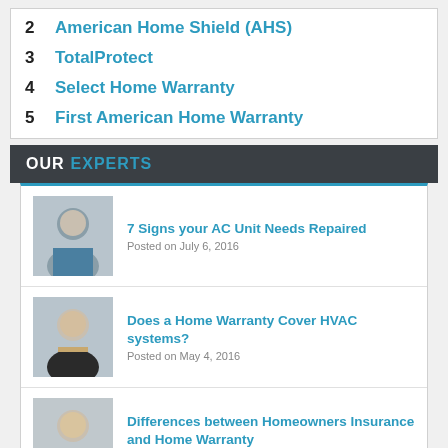2  American Home Shield (AHS)
3  TotalProtect
4  Select Home Warranty
5  First American Home Warranty
OUR EXPERTS
7 Signs your AC Unit Needs Repaired
Posted on July 6, 2016
Does a Home Warranty Cover HVAC systems?
Posted on May 4, 2016
Differences between Homeowners Insurance and Home Warranty
Posted on May 4, 2016
Does a Home Warranty increase property value?
Posted on May 4, 2016